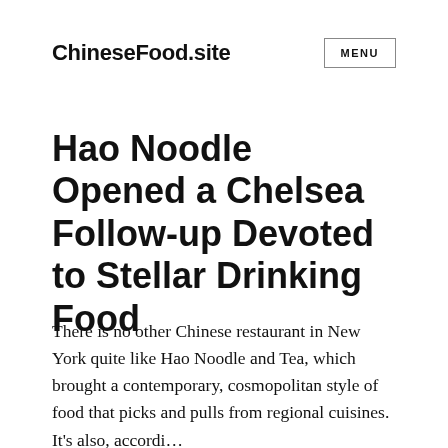ChineseFood.site
Hao Noodle Opened a Chelsea Follow-up Devoted to Stellar Drinking Food
There is no other Chinese restaurant in New York quite like Hao Noodle and Tea, which brought a contemporary, cosmopolitan style of food that picks and pulls from regional cuisines. It’s also, accordi…